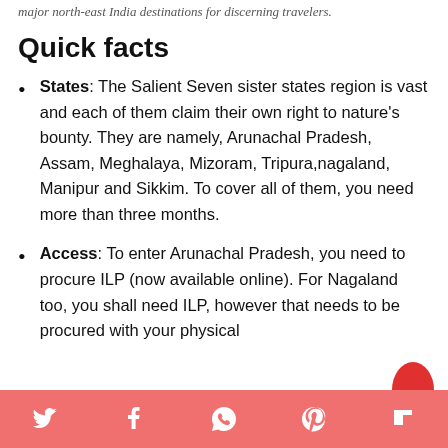major north-east India destinations for discerning travelers.
Quick facts
States: The Salient Seven sister states region is vast and each of them claim their own right to nature's bounty. They are namely, Arunachal Pradesh, Assam, Meghalaya, Mizoram, Tripura,nagaland, Manipur and Sikkim. To cover all of them, you need more than three months.
Access: To enter Arunachal Pradesh, you need to procure ILP (now available online). For Nagaland too, you shall need ILP, however that needs to be procured with your physical
Social share icons: Twitter, Facebook, WhatsApp, Pinterest, Flipboard